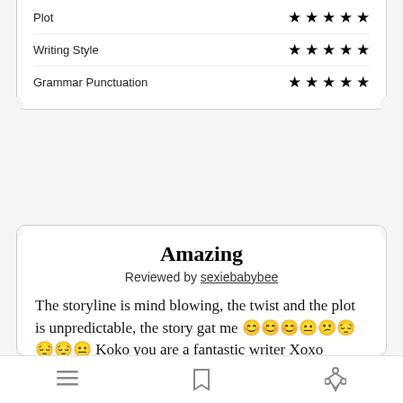| Category | Rating |
| --- | --- |
| Plot | ★★★★★ |
| Writing Style | ★★★★★ |
| Grammar Punctuation | ★★★★★ |
Amazing
Reviewed by sexiebabybee
The storyline is mind blowing, the twist and the plot is unpredictable, the story gat me 😊😊😊😐😒😔😔😔😔 Koko you are a fantastic writer Xoxo
| Category | Rating |
| --- | --- |
| Overall Rating | ★★★★★ |
| Plot | ★★★★★ |